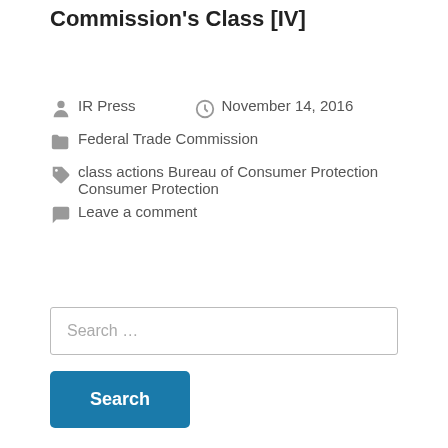Commission's Class [IV]
IR Press   November 14, 2016
Federal Trade Commission
class actions Bureau of Consumer Protection Consumer Protection
Leave a comment
Search …